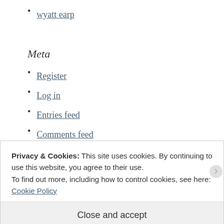wyatt earp
Meta
Register
Log in
Entries feed
Comments feed
WordPress.com
Privacy & Cookies: This site uses cookies. By continuing to use this website, you agree to their use.
To find out more, including how to control cookies, see here: Cookie Policy
Close and accept